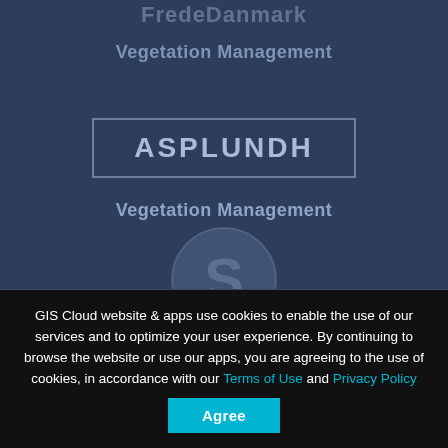[Figure (screenshot): Dark navy blue background with faded 'FredeDanmark' text at top, 'Vegetation Management' subtitle, ASPLUNDH logo in bordered box, second 'Vegetation Management' text, and partial circular S logo watermark]
GIS Cloud website & apps use cookies to enable the use of our services and to optimize your user experience. By continuing to browse the website or use our apps, you are agreeing to the use of cookies, in accordance with our Terms of Use and Privacy Policy
Agree